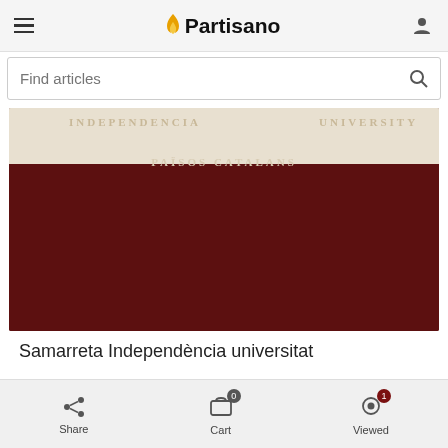Partisano
[Figure (photo): Dark maroon/burgundy university-style t-shirt with text 'PAÏSOS CATALANS' printed in cream/beige letters on the chest area. The shirt hangs against a white background, partially cropped.]
Samarreta Independència universitat
€16.00
Share  Cart 0  Viewed 1